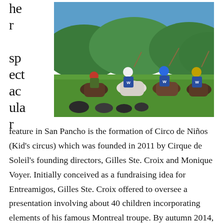her spectacular
[Figure (photo): Polo players on horseback in blue jerseys with 'W' logo, on a green field with hills and blue sky in background. A person in camouflage stands nearby.]
feature in San Pancho is the formation of Circo de Niños (Kid's circus) which was founded in 2011 by Cirque de Soleil's founding directors, Gilles Ste. Croix and Monique Voyer. Initially conceived as a fundraising idea for Entreamigos, Gilles Ste. Croix offered to oversee a presentation involving about 40 children incorporating elements of his famous Montreal troupe. By autumn 2014, Cirque de Soleil had donated equipment and the Circo de los Niños